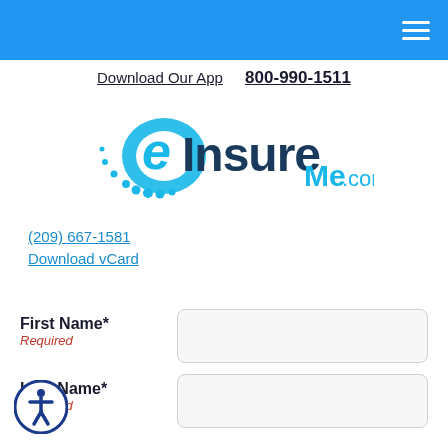eInsureMe.com — 800-990-1511 — Download Our App
[Figure (logo): eInsureMe.com logo with cyan swoosh/dots and dark blue text]
(209) 667-1581
Download vCard
First Name* Required
Last Name* Required
Email Address* Required
Phone Number*